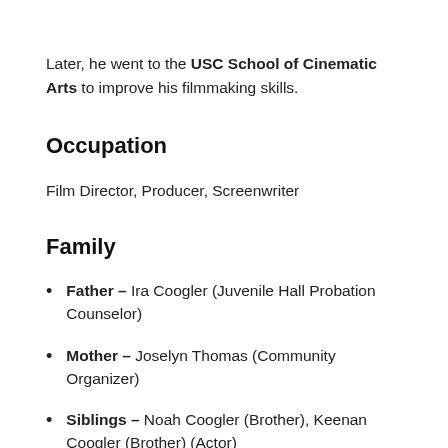Later, he went to the USC School of Cinematic Arts to improve his filmmaking skills.
Occupation
Film Director, Producer, Screenwriter
Family
Father – Ira Coogler (Juvenile Hall Probation Counselor)
Mother – Joselyn Thomas (Community Organizer)
Siblings – Noah Coogler (Brother), Keenan Coogler (Brother) (Actor)